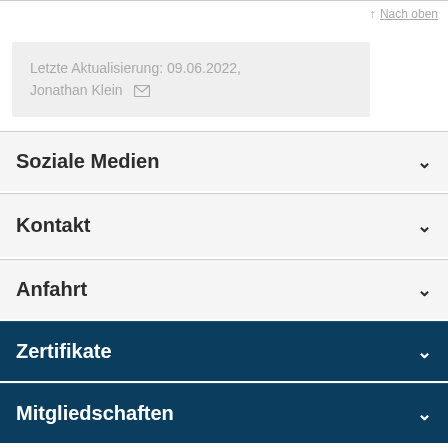Nach oben
Letzte Aktualisierung: 09.06.2022, Jonathan Klein
Soziale Medien
Kontakt
Anfahrt
Zertifikate
Mitgliedschaften